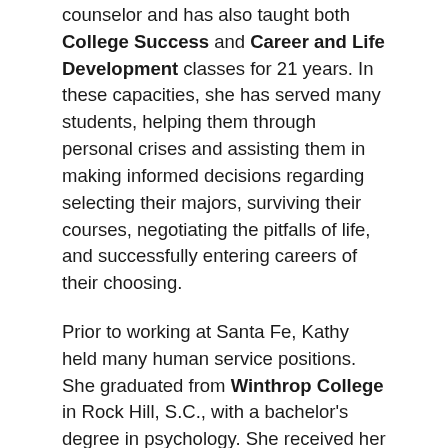counselor and has also taught both College Success and Career and Life Development classes for 21 years. In these capacities, she has served many students, helping them through personal crises and assisting them in making informed decisions regarding selecting their majors, surviving their courses, negotiating the pitfalls of life, and successfully entering careers of their choosing.
Prior to working at Santa Fe, Kathy held many human service positions. She graduated from Winthrop College in Rock Hill, S.C., with a bachelor's degree in psychology. She received her master's in counselor education from the University of Florida. From 1970 to 1976, she worked as a child and family psychotherapist. She worked with severely disturbed children and their families while employed with Saint Francis Home for Children in New Haven, Conn.